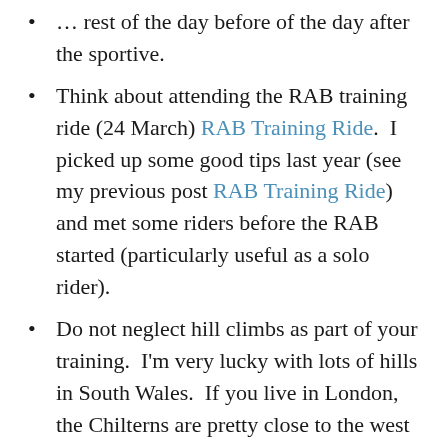… rest of the day before of the day after the sportive.
Think about attending the RAB training ride (24 March) RAB Training Ride.  I picked up some good tips last year (see my previous post RAB Training Ride) and met some riders before the RAB started (particularly useful as a solo rider).
Do not neglect hill climbs as part of your training.  I'm very lucky with lots of hills in South Wales.  If you live in London, the Chilterns are pretty close to the west (the tube runs to Amersham and trains run to High Wycombe and Princes Risborough) and the South Downs (to the south!).  Anyone living is Norfolk and Suffolk has a bit of a problem!  The Chiltern 100 sportive (14 July)